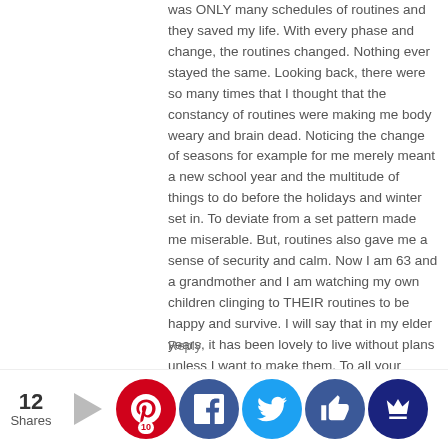was ONLY many schedules of routines and they saved my life. With every phase and change, the routines changed. Nothing ever stayed the same. Looking back, there were so many times that I thought that the constancy of routines were making me body weary and brain dead. Noticing the change of seasons for example for me merely meant a new school year and the multitude of things to do before the holidays and winter set in. To deviate from a set pattern made me miserable. But, routines also gave me a sense of security and calm. Now I am 63 and a grandmother and I am watching my own children clinging to THEIR routines to be happy and survive. I will say that in my elder years, it has been lovely to live without plans unless I want to make them. To all your young bloggers, routines are necessary and can bring much needed calm to constantly changing situations in life. Just remember to breathe, take care of yourself and enjoy the ride. I miss it every now and then.
Reply
Bow… October …19 at … perspective… sometime… els like … r stops …
[Figure (infographic): Social share bar with counts: 12 Shares, Pinterest (10), Facebook, Twitter, Like, Crown buttons]